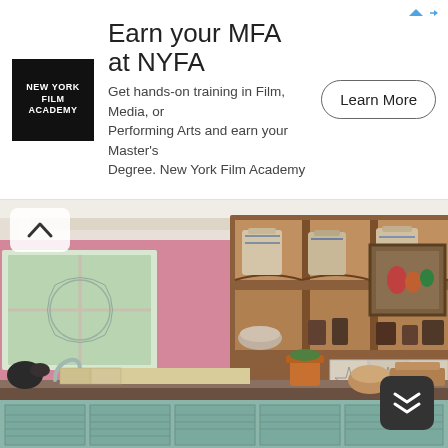[Figure (infographic): New York Film Academy advertisement banner. Black square logo with 'NEW YORK FILM ACADEMY' text on left. Headline 'Earn your MFA at NYFA'. Body text: 'Get hands-on training in Film, Media, or Performing Arts and earn your Master's Degree. New York Film Academy'. 'Learn More' button on right. Small ad attribution arrow icons top-right.]
[Figure (photo): Interior photo of a bohemian/eclectic kitchen with pink and magenta walls. Wooden open shelving units filled with ceramic canisters and pottery. Decorative blue-and-white patterned tiles as backsplash on the right side. A framed still-life painting on the upper right wall. Lower cabinets painted pale mint/sage green with louvered doors. Countertop with various pots, bowls, a mortar and pestle, glasses, and bread. A sink with a curved faucet on the left. Clay pots and plants visible. White beamed ceiling.]